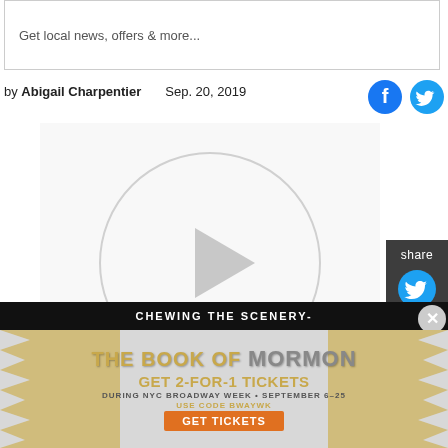Get local news, offers & more...
by Abigail Charpentier   Sep. 20, 2019
[Figure (other): Social media icons: Facebook and Twitter in blue]
[Figure (other): Video player placeholder with play button circle]
[Figure (other): Share sidebar with Twitter and Facebook icons on dark background]
CHEWING THE SCENERY-
[Figure (other): Advertisement for The Book of Mormon: GET 2-FOR-1 TICKETS during NYC Broadway Week September 6-25, use code BWAYWK, GET TICKETS button]